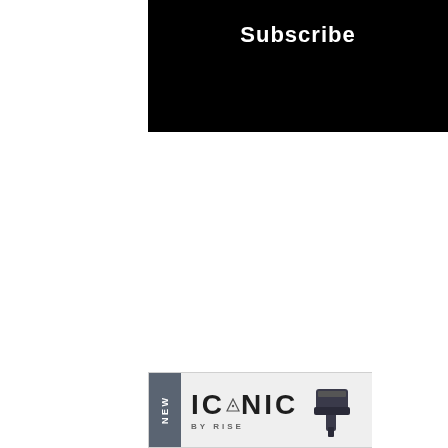[Figure (screenshot): Black subscribe button bar with white bold text reading 'Subscribe']
[Figure (infographic): ICONIC by RISE advertisement banner with 'NEW' badge on left side and three trigger product images on right]